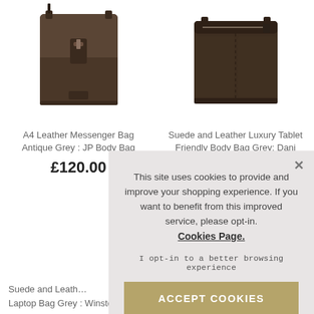[Figure (photo): A4 Leather Messenger Bag Antique Grey product photo - dark brown leather crossbody bag]
A4 Leather Messenger Bag Antique Grey : JP Body Bag
£120.00
[Figure (photo): Suede and Leather Luxury Tablet Friendly Body Bag Grey Dani product photo - dark brown suede crossbody bag]
Suede and Leather Luxury Tablet Friendly Body Bag Grey: Dani
£79.95
This site uses cookies to provide and improve your shopping experience. If you want to benefit from this improved service, please opt-in. Cookies Page. I opt-in to a better browsing experience ACCEPT COOKIES
Suede and Leath… Laptop Bag Grey : Winston